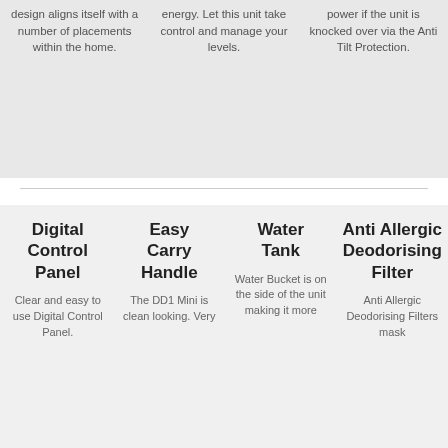design aligns itself with a number of placements within the home.
energy. Let this unit take control and manage your levels.
power if the unit is knocked over via the Anti Tilt Protection.
Digital Control Panel
Clear and easy to use Digital Control Panel.
Easy Carry Handle
The DD1 Mini is clean looking. Very
Water Tank
Water Bucket is on the side of the unit making it more
Anti Allergic Deodorising Filter
Anti Allergic Deodorising Filters mask